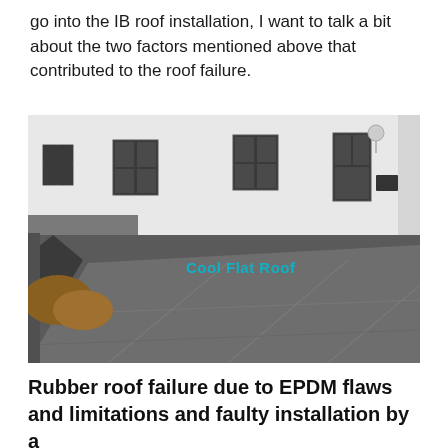go into the IB roof installation, I want to talk a bit about the two factors mentioned above that contributed to the roof failure.
[Figure (photo): Aerial/elevated view of a flat rubber roof on a residential building, showing a large grey EPDM membrane with visible seam lines and a metal drip edge on the left side. A white building with multiple windows is visible in the background. A watermark reading 'Cool Flat Roof' appears in teal text near the center of the image.]
Rubber roof failure due to EPDM flaws and limitations and faulty installation by a